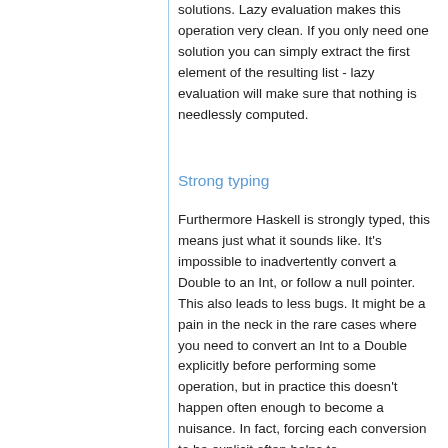solutions. Lazy evaluation makes this operation very clean. If you only need one solution you can simply extract the first element of the resulting list - lazy evaluation will make sure that nothing is needlessly computed.
Strong typing
Furthermore Haskell is strongly typed, this means just what it sounds like. It's impossible to inadvertently convert a Double to an Int, or follow a null pointer. This also leads to less bugs. It might be a pain in the neck in the rare cases where you need to convert an Int to a Double explicitly before performing some operation, but in practice this doesn't happen often enough to become a nuisance. In fact, forcing each conversion to be explicit often helps to highlight odd assumptions.